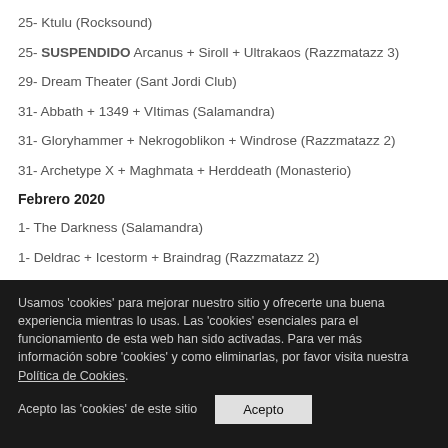25- Ktulu (Rocksound)
25- SUSPENDIDO Arcanus + Siroll + Ultrakaos (Razzmatazz 3)
29- Dream Theater (Sant Jordi Club)
31- Abbath + 1349 + VItimas (Salamandra)
31- Gloryhammer + Nekrogoblikon + Windrose (Razzmatazz 2)
31- Archetype X + Maghmata + Herddeath (Monasterio)
Febrero 2020
1- The Darkness (Salamandra)
1- Deldrac + Icestorm + Braindrag (Razzmatazz 2)
1- In Mute + Dekta + Steinbock (Bóveda)
1- Shattered Sign + God´s Funeral (Monasterio)
Usamos 'cookies' para mejorar nuestro sitio y ofrecerte una buena experiencia mientras lo usas. Las 'cookies' esenciales para el funcionamiento de esta web han sido activadas. Para ver más información sobre 'cookies' y como eliminarlas, por favor visita nuestra Política de Cookies.
Acepto las 'cookies' de este sitio